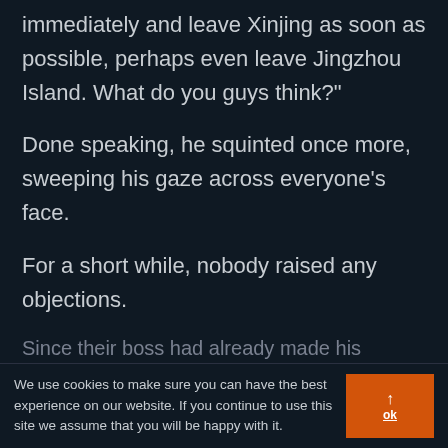immediately and leave Xinjing as soon as possible, perhaps even leave Jingzhou Island. What do you guys think?"
Done speaking, he squinted once more, sweeping his gaze across everyone's face.
For a short while, nobody raised any objections.
Since their boss had already made his
We use cookies to make sure you can have the best experience on our website. If you continue to use this site we assume that you will be happy with it.